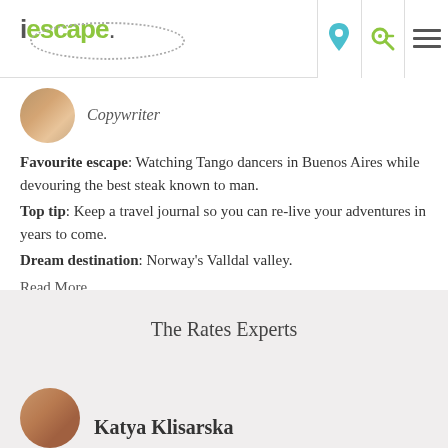iescape
Copywriter
Favourite escape: Watching Tango dancers in Buenos Aires while devouring the best steak known to man.
Top tip: Keep a travel journal so you can re-live your adventures in years to come.
Dream destination: Norway's Valldal valley.
Read More
The Rates Experts
Katya Klisarska